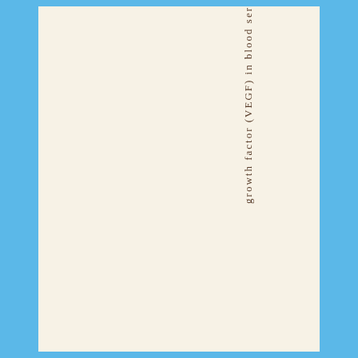growth factor (VEGF) in blood ser